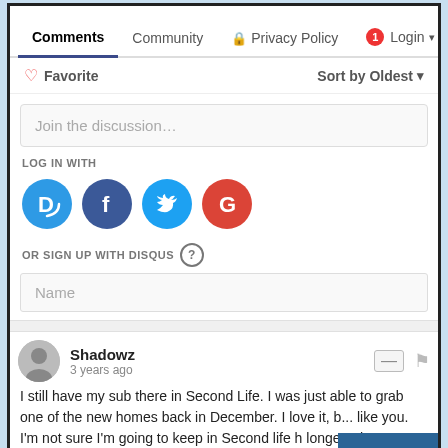Comments | Community | Privacy Policy | Login
♡ Favorite    Sort by Oldest ▾
Join the discussion…
LOG IN WITH
[Figure (illustration): Social login icons: Disqus (D), Facebook (f), Twitter bird, Google (G)]
OR SIGN UP WITH DISQUS ?
Name
Shadowz
3 years ago
I still have my sub there in Second Life. I was just able to grab one of the new homes back in December. I love it, b... like you. I'm not sure I'm going to keep in Second Life h longer. I have friends that have offered me a log in a... t spot I kept my store on Marketplace and all the lindens I earn l